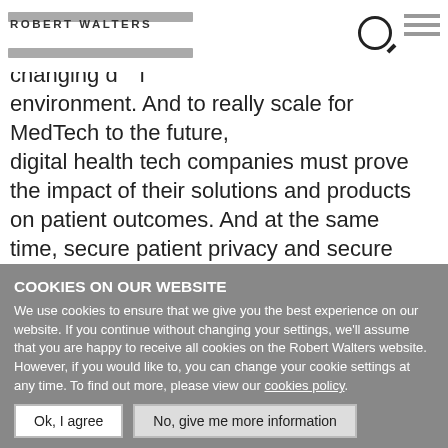ROBERT WALTERS
culture that embraces agile ways of working becomes a success in a rapidly changing digital environment. And to really scale for MedTech to the future, digital health tech companies must prove the impact of their solutions and products on patient outcomes. And at the same time, secure patient privacy and secure the consent.
One heart-warming thing about Digital Transformation is even in Digital Transformation, the traditional leadership behaviours like trust, integrity, honesty, purpose, and commitment to continuous communication still remain
COOKIES ON OUR WEBSITE
We use cookies to ensure that we give you the best experience on our website. If you continue without changing your settings, we'll assume that you are happy to receive all cookies on the Robert Walters website. However, if you would like to, you can change your cookie settings at any time. To find out more, please view our cookies policy.
Ok, I agree
No, give me more information